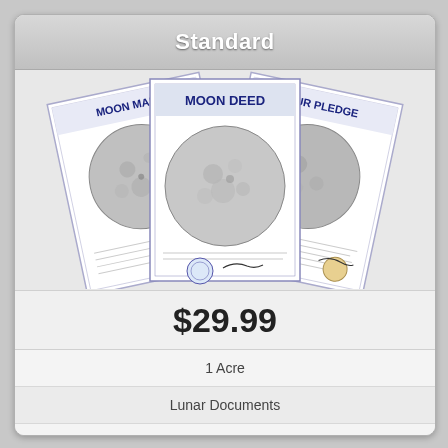Standard
[Figure (illustration): Three overlapping certificate documents: Moon Map (left), Moon Deed (center, front), and Our Pledge (right). Each document features an image of the moon and official-looking seals and text.]
$29.99
1 Acre
Lunar Documents
Futuristic Packaging
More Info